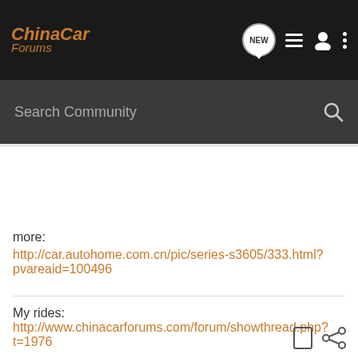ChinaCar Forums
Search Community
more:
http://car.autohome.com.cn/pic/series-s3605/333.html?pvareaid=100496
My rides: http://www.chinacarforums.com/forum/showthread.php?t=1976